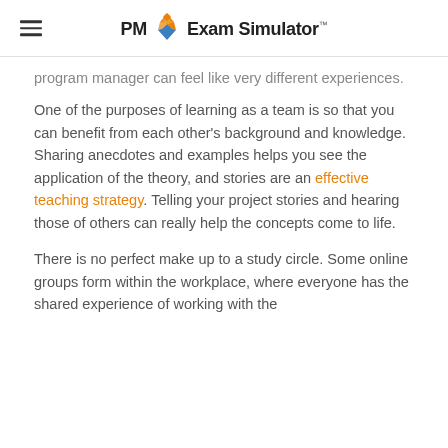PM Exam Simulator
program manager can feel like very different experiences.
One of the purposes of learning as a team is so that you can benefit from each other's background and knowledge. Sharing anecdotes and examples helps you see the application of the theory, and stories are an effective teaching strategy. Telling your project stories and hearing those of others can really help the concepts come to life.
There is no perfect make up to a study circle. Some online groups form within the workplace, where everyone has the shared experience of working with the